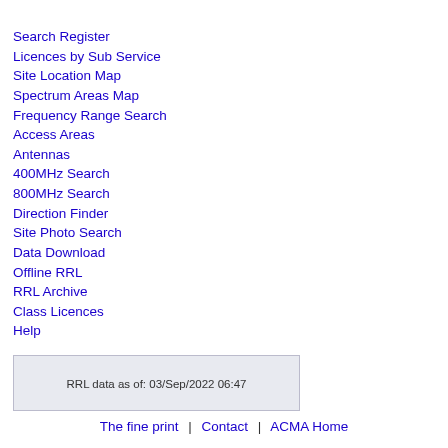Search Register
Licences by Sub Service
Site Location Map
Spectrum Areas Map
Frequency Range Search
Access Areas
Antennas
400MHz Search
800MHz Search
Direction Finder
Site Photo Search
Data Download
Offline RRL
RRL Archive
Class Licences
Help
RRL data as of: 03/Sep/2022 06:47
The fine print  |  Contact  |  ACMA Home